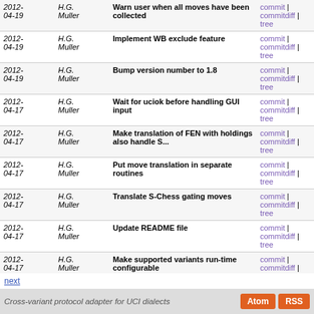| Date | Author | Description | Links |
| --- | --- | --- | --- |
| 2012-04-19 | H.G. Muller | Warn user when all moves have been collected | commit | commitdiff | tree |
| 2012-04-19 | H.G. Muller | Implement WB exclude feature | commit | commitdiff | tree |
| 2012-04-19 | H.G. Muller | Bump version number to 1.8 | commit | commitdiff | tree |
| 2012-04-17 | H.G. Muller | Wait for uciok before handling GUI input | commit | commitdiff | tree |
| 2012-04-17 | H.G. Muller | Make translation of FEN with holdings also handle S... | commit | commitdiff | tree |
| 2012-04-17 | H.G. Muller | Put move translation in separate routines | commit | commitdiff | tree |
| 2012-04-17 | H.G. Muller | Translate S-Chess gating moves | commit | commitdiff | tree |
| 2012-04-17 | H.G. Muller | Update README file | commit | commitdiff | tree |
| 2012-04-17 | H.G. Muller | Make supported variants run-time configurable | commit | commitdiff | tree |
| 2012-04-17 | H.G. Muller | Use 30msec margin in st->movetime translation | commit | commitdiff | tree |
| 2012-02-13 | H.G. Muller | Always pass info string with timing info | commit | commitdiff | tree |
next
Cross-variant protocol adapter for UCI dialects | Atom RSS